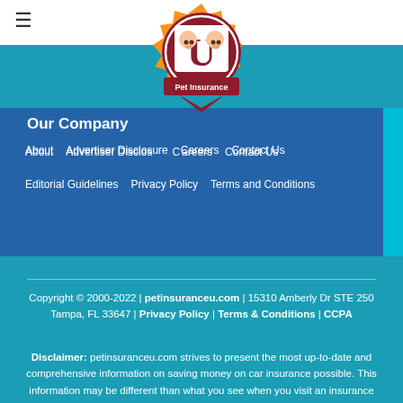[Figure (logo): Pet Insurance U logo — circular orange badge with red 'U' letter and cartoon dog/cat faces, text 'Pet Insurance' at bottom]
Our Company
About
Advertiser Disclosure
Careers
Contact Us
Editorial Guidelines
Privacy Policy
Terms and Conditions
Copyright © 2000-2022 | petinsuranceu.com | 15310 Amberly Dr STE 250 Tampa, FL 33647 | Privacy Policy | Terms & Conditions | CCPA
Disclaimer: petinsuranceu.com strives to present the most up-to-date and comprehensive information on saving money on car insurance possible. This information may be different than what you see when you visit an insurance provider, insurance agency, or insurance company website. All insurance rates, products, and services are presented without warranty and guarantee. When evaluating rates, please verify directly with your insurance company or agent. Quotes and offers are not binding, nor a guarantee